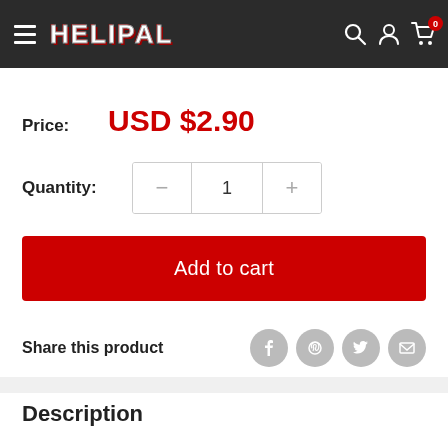HELIPAL
Price: USD $2.90
Quantity: 1
Add to cart
Share this product
Description